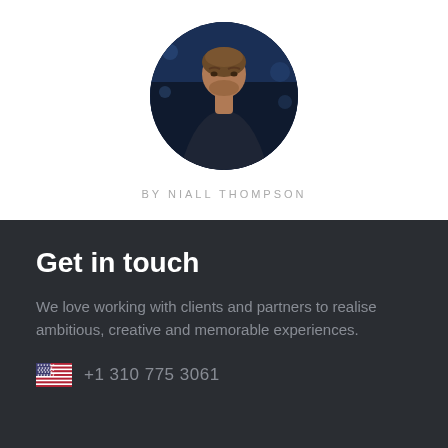[Figure (photo): Circular cropped headshot photo of a man with short brown hair wearing a dark shirt, against a dark blue bokeh background]
BY NIALL THOMPSON
Get in touch
We love working with clients and partners to realise ambitious, creative and memorable experiences.
+1 310 775 3061